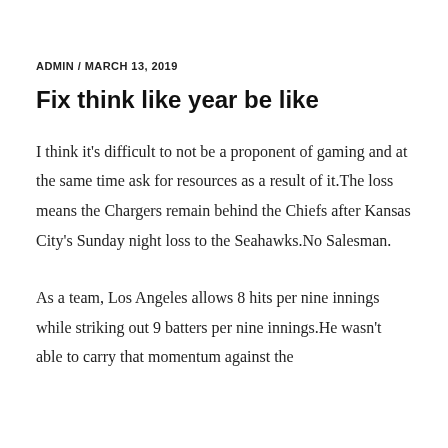ADMIN / MARCH 13, 2019
Fix think like year be like
I think it’s difficult to not be a proponent of gaming and at the same time ask for resources as a result of it.The loss means the Chargers remain behind the Chiefs after Kansas City’s Sunday night loss to the Seahawks.No Salesman.
As a team, Los Angeles allows 8 hits per nine innings while striking out 9 batters per nine innings.He wasn’t able to carry that momentum against the